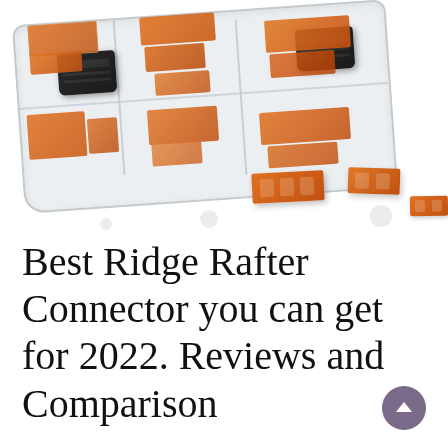[Figure (photo): Photo of orange and clear wire connector assortment kit in a transparent plastic organizer box with black lever handles, several connectors scattered outside the box on a white background]
Best Ridge Rafter Connector you can get for 2022. Reviews and Comparison